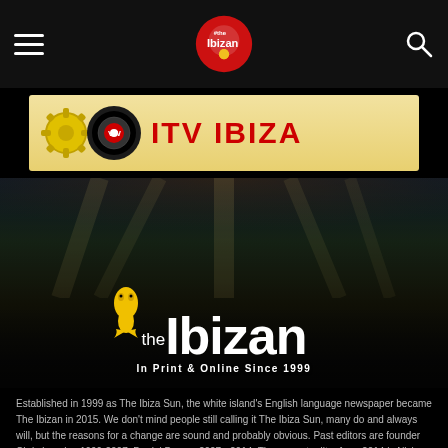The Ibizan navigation bar with hamburger menu, logo, and search icon
[Figure (photo): ITV Ibiza banner advertisement with gear/vinyl graphics and red ITV IBIZA text on yellow/tan background]
[Figure (photo): Hero image of outdoor concert/festival crowd with stage lighting and smoke, overlaid with The Ibizan logo text in white and yellow, tagline 'In Print & Online Since 1999']
Established in 1999 as The Ibiza Sun, the white island's English language newspaper became The Ibizan in 2015. We don't mind people still calling it The Ibiza Sun, many do and always will, but the reasons for a change are sound and probably obvious. Past editors are founder Chris Langley 1999-2007, Daniel Darvey 2007 - 2014. The current editor from 2014 is Nick Gibbs.